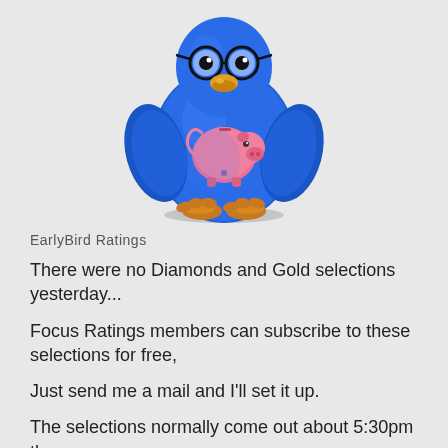[Figure (illustration): Cartoon blue bird mascot wearing glasses and holding a pink piggy bank]
EarlyBird Ratings
There were no Diamonds and Gold selections yesterday...
Focus Ratings members can subscribe to these selections for free,
Just send me a mail and I'll set it up.
The selections normally come out about 5:30pm the